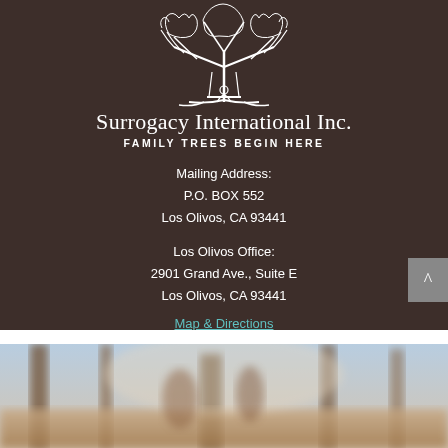[Figure (illustration): White line art illustration of a tree with a swing on a dark brown background]
Surrogacy International Inc.
FAMILY TREES BEGIN HERE
Mailing Address:
P.O. BOX 552
Los Olivos, CA 93441
Los Olivos Office:
2901 Grand Ave., Suite E
Los Olivos, CA 93441
Map & Directions
[Figure (photo): Blurred outdoor photo with warm sepia tones, appears to show a person or figures in a natural outdoor setting]